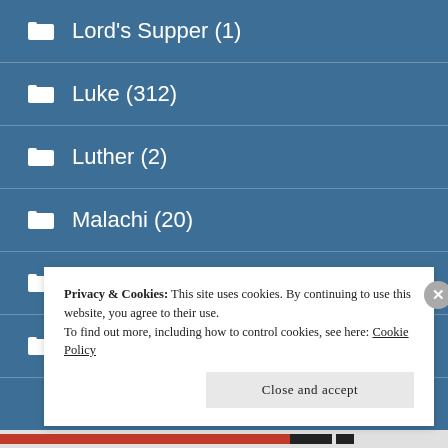Lord's Supper (1)
Luke (312)
Luther (2)
Malachi (20)
Marcuse (5)
Mark (173)
Privacy & Cookies: This site uses cookies. By continuing to use this website, you agree to their use.
To find out more, including how to control cookies, see here: Cookie Policy
Close and accept